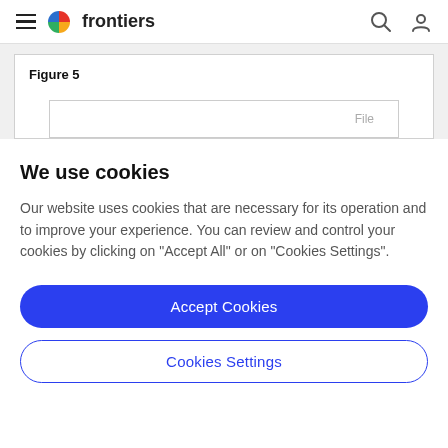frontiers
Figure 5
[Figure (other): Partially visible figure card with white inner box, content partially cut off]
We use cookies
Our website uses cookies that are necessary for its operation and to improve your experience. You can review and control your cookies by clicking on "Accept All" or on "Cookies Settings".
Accept Cookies
Cookies Settings